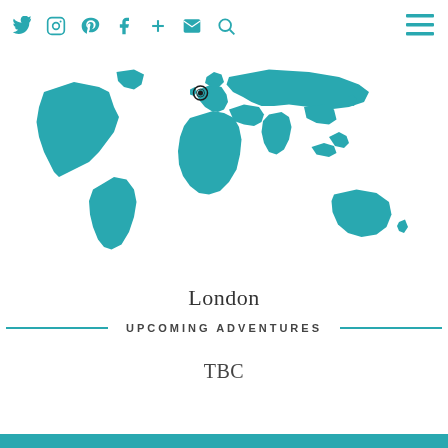Social media icons: Twitter, Instagram, Pinterest, Facebook, Plus, Email, Search; Hamburger menu
[Figure (map): Teal world map with a location pin marker on Western Europe (London area)]
London
UPCOMING ADVENTURES
TBC